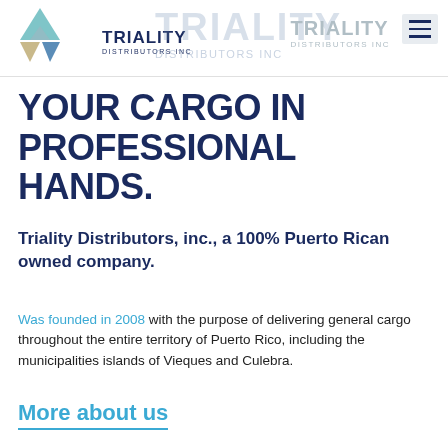[Figure (logo): Triality Distributors Inc logo with triangle graphic, company name, and watermark variant. Hamburger menu icon on the right.]
YOUR CARGO IN PROFESSIONAL HANDS.
Triality Distributors, inc., a 100% Puerto Rican owned company.
Was founded in 2008 with the purpose of delivering general cargo throughout the entire territory of Puerto Rico, including the municipalities islands of Vieques and Culebra.
More about us